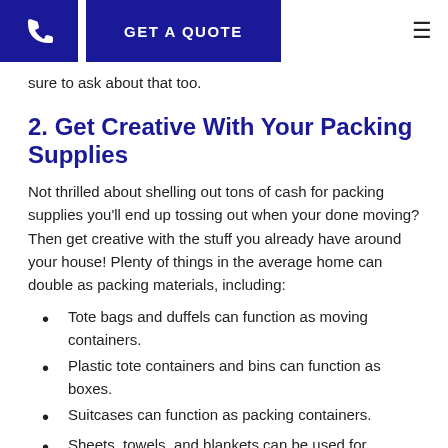GET A QUOTE
sure to ask about that too.
2. Get Creative With Your Packing Supplies
Not thrilled about shelling out tons of cash for packing supplies you'll end up tossing out when your done moving? Then get creative with the stuff you already have around your house! Plenty of things in the average home can double as packing materials, including:
Tote bags and duffels can function as moving containers.
Plastic tote containers and bins can function as boxes.
Suitcases can function as packing containers.
Sheets, towels, and blankets can be used for wrapping fragile items.
Socks and underwear can be used to fill empty space between fragile items.
Dresser drawers can be used to transport the clothes